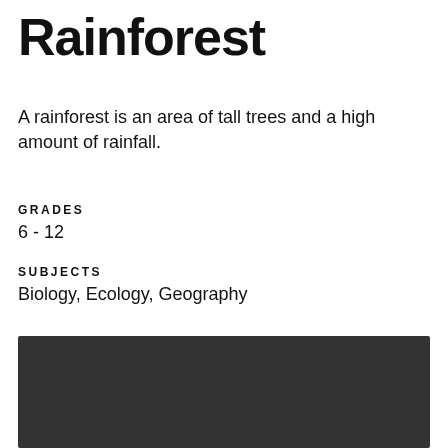Rainforest
A rainforest is an area of tall trees and a high amount of rainfall.
GRADES
6 - 12
SUBJECTS
Biology, Ecology, Geography
[Figure (photo): Dark photographic image, appears to be a rainforest scene, mostly obscured/dark.]